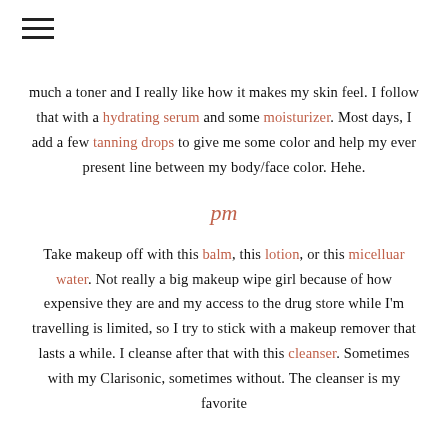☰
much a toner and I really like how it makes my skin feel. I follow that with a hydrating serum and some moisturizer. Most days, I add a few tanning drops to give me some color and help my ever present line between my body/face color. Hehe.
pm
Take makeup off with this balm, this lotion, or this micelluar water. Not really a big makeup wipe girl because of how expensive they are and my access to the drug store while I'm travelling is limited, so I try to stick with a makeup remover that lasts a while. I cleanse after that with this cleanser. Sometimes with my Clarisonic, sometimes without. The cleanser is my favorite